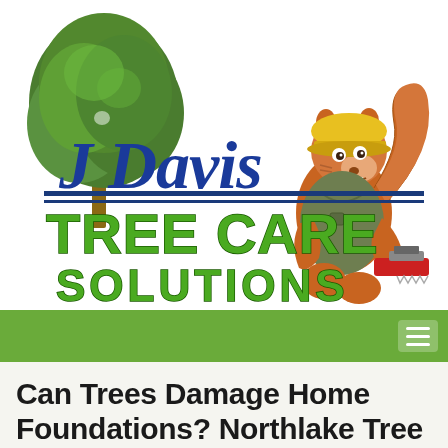[Figure (logo): J Davis Tree Care Solutions logo featuring a green tree on the left, a cartoon squirrel mascot wearing a hard hat and holding a chainsaw on the right, with 'J Davis' in blue script, 'TREE CARE' in large green block letters, and 'SOLUTIONS' in green block letters below, with blue horizontal lines separating the script from the block text.]
Can Trees Damage Home Foundations? Northlake Tree Removal